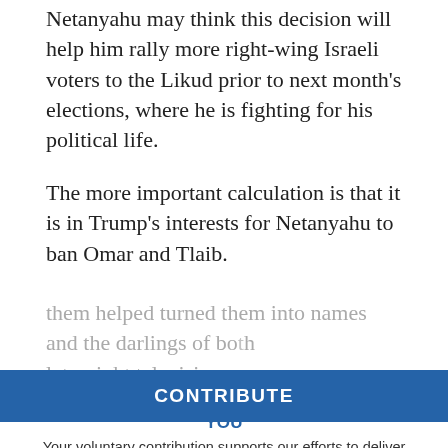Netanyahu may think this decision will help him rally more right-wing Israeli voters to the Likud prior to next month's elections, where he is fighting for his political life.
The more important calculation is that it is in Trump's interests for Netanyahu to ban Omar and Tlaib.
Much as was the case with his previous shots at the pair and the other members of the “Squad,” like Rep. Alexandria Ocasio-Cortez (D-N.Y.), Trump wants these radicals to become the face of the Democratic Party. His attacks on
them helped turned them into names and the darlings of both... late-night television con...
PHILADELPHIA JEWISH EXPONENT IS HERE FOR YOU
Your voluntary contribution supports our efforts to deliver content that engages and helps strengthen the Jewish community in the Philadelphia area.
CONTRIBUTE
Though their views are out of sync with more moderate Democrats, like the 41 members of the House who just visited Israel this past week to express their solidarity...